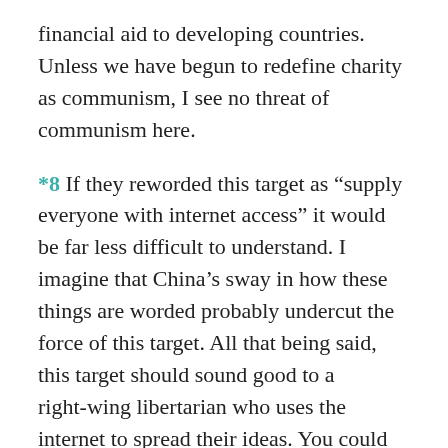financial aid to developing countries. Unless we have begun to redefine charity as communism, I see no threat of communism here.
*8 If they reworded this target as “supply everyone with internet access” it would be far less difficult to understand. I imagine that China’s sway in how these things are worded probably undercut the force of this target. All that being said, this target should sound good to a right-wing libertarian who uses the internet to spread their ideas. You could read this as “China undercutting this target’s power” or as “the target sneaking past China.” Either way, it supports a libertarian ideal.
These goals are decidedly underwhelming. They